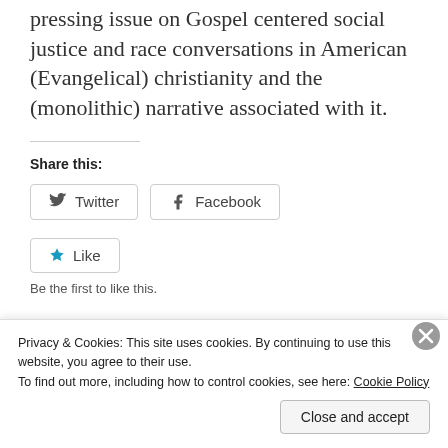pressing issue on Gospel centered social justice and race conversations in American (Evangelical) christianity and the (monolithic) narrative associated with it.
Share this:
Twitter
Facebook
Like
Be the first to like this.
Privacy & Cookies: This site uses cookies. By continuing to use this website, you agree to their use.
To find out more, including how to control cookies, see here: Cookie Policy
Close and accept